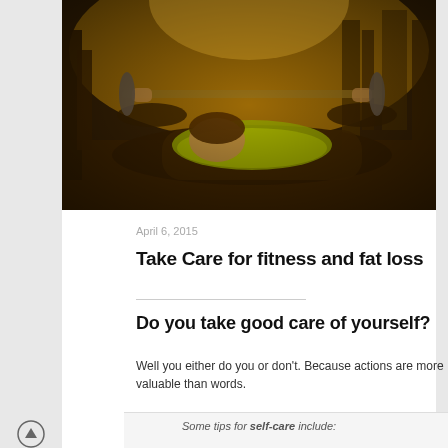[Figure (photo): Person doing bench press exercise in a gym with yellow/dark lighting, gym equipment visible in background]
April 6, 2015
Take Care for fitness and fat loss
Do you take good care of yourself?
Well you either do you or don't. Because actions are more valuable than words.
Some tips for self-care include: